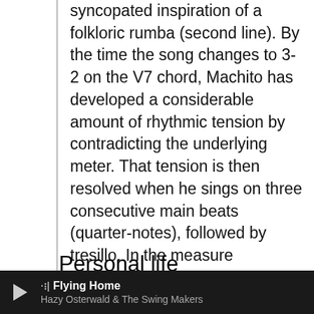syncopated inspiration of a folkloric rumba (second line). By the time the song changes to 3-2 on the V7 chord, Machito has developed a considerable amount of rhythmic tension by contradicting the underlying meter. That tension is then resolved when he sings on three consecutive main beats (quarter-notes), followed by tresillo. In the measure immediately following tresillo the song returns to 2-3 and the I chord (fifth line)Peñalosa (2010).[27]
Personal life
Machito was somewhat short in stature, at 5 feet (Expression error: Unexpected round operator.)
Flying Home — Hazy Osterwald & The Swing Makers